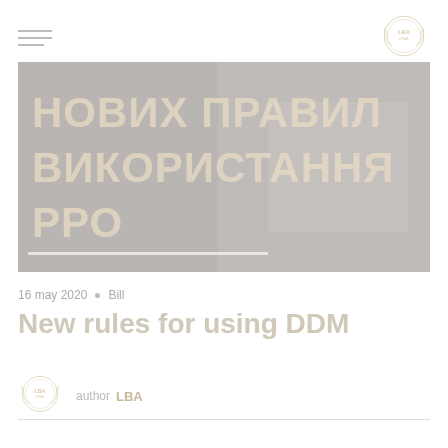[Figure (logo): Hamburger menu icon - three horizontal lines]
[Figure (logo): LBA circular wreath logo top right]
[Figure (photo): Hero banner image with Ukrainian text: НОВИХ ПРАВИЛ ВИКОРИСТАННЯ РРО on a grey background with a hand holding a pen]
16 may 2020 • Bill
New rules for using DDM
[Figure (logo): LBA circular wreath logo - author avatar]
author LBA